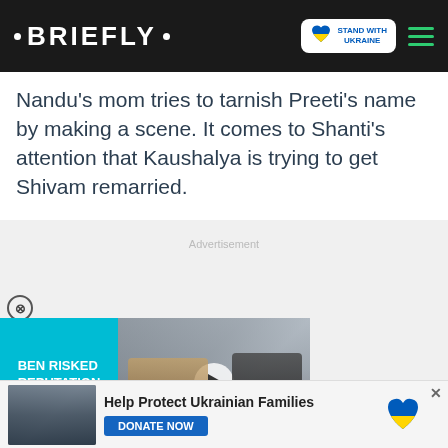• BRIEFLY •
Nandu's mom tries to tarnish Preeti's name by making a scene. It comes to Shanti's attention that Kaushalya is trying to get Shivam remarried.
Advertisement
[Figure (screenshot): Video advertisement with teal background showing text 'BEN RISKED REPUTATION FOR ME' on the left, and two men posing together on the right with a play button overlay]
[Figure (screenshot): Bottom banner advertisement: Help Protect Ukrainian Families with DONATE NOW button and Ukrainian flag heart icon]